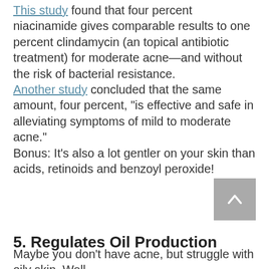This study found that four percent niacinamide gives comparable results to one percent clindamycin (an topical antibiotic treatment) for moderate acne—and without the risk of bacterial resistance. Another study concluded that the same amount, four percent, "is effective and safe in alleviating symptoms of mild to moderate acne." Bonus: It's also a lot gentler on your skin than acids, retinoids and benzoyl peroxide!
5. Regulates Oil Production
Maybe you don't have acne, but struggle with oily skin. Well,